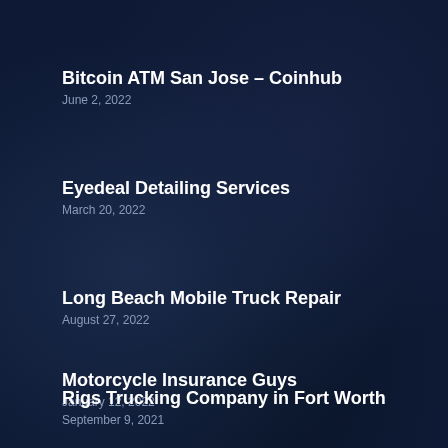Bitcoin ATM San Jose – Coinhub
June 2, 2022
Eyedeal Detailing Services
March 20, 2022
Long Beach Mobile Truck Repair
August 27, 2022
Motorcycle Insurance Guys
January 12, 2022
Rigs Trucking Company in Fort Worth
September 9, 2021